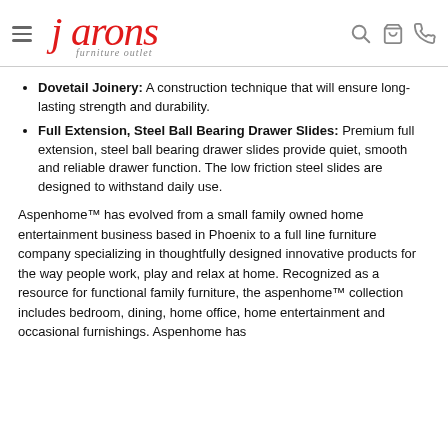jarons furniture outlet
Dovetail Joinery: A construction technique that will ensure long-lasting strength and durability.
Full Extension, Steel Ball Bearing Drawer Slides: Premium full extension, steel ball bearing drawer slides provide quiet, smooth and reliable drawer function. The low friction steel slides are designed to withstand daily use.
Aspenhome™ has evolved from a small family owned home entertainment business based in Phoenix to a full line furniture company specializing in thoughtfully designed innovative products for the way people work, play and relax at home. Recognized as a resource for functional family furniture, the aspenhome™ collection includes bedroom, dining, home office, home entertainment and occasional furnishings. Aspenhome has